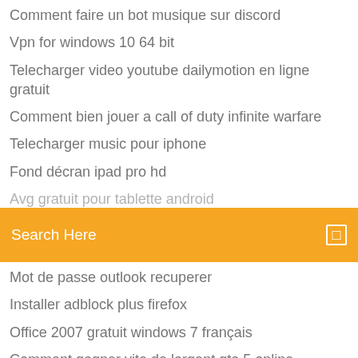Comment faire un bot musique sur discord
Vpn for windows 10 64 bit
Telecharger video youtube dailymotion en ligne gratuit
Comment bien jouer a call of duty infinite warfare
Telecharger music pour iphone
Fond décran ipad pro hd
Avg gratuit pour tablette android
[Figure (screenshot): Orange search bar with 'Search Here' placeholder text and a small square icon on the right]
Mot de passe outlook recuperer
Installer adblock plus firefox
Office 2007 gratuit windows 7 français
Comment gagner vite de largent gta 5 online
Speed up my pc key
Transfert images android vers mac
Comment transferer des photos de google photos vers galerie
Télécharger whatsapp pour windows 10
Systeme dexploitation android pc